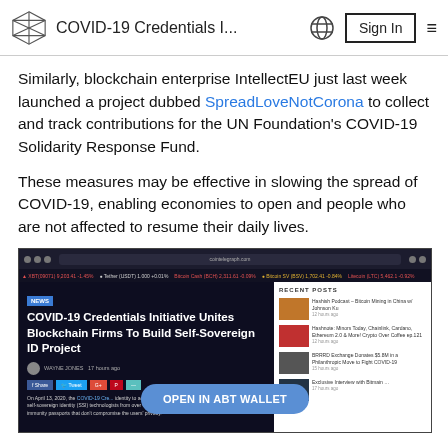COVID-19 Credentials I...  Sign In
Similarly, blockchain enterprise IntellectEU just last week launched a project dubbed SpreadLoveNotCorona to collect and track contributions for the UN Foundation's COVID-19 Solidarity Response Fund.
These measures may be effective in slowing the spread of COVID-19, enabling economies to open and people who are not affected to resume their daily lives.
[Figure (screenshot): Screenshot of a CoinTelegraph article titled 'COVID-19 Credentials Initiative Unites Blockchain Firms To Build Self-Sovereign ID Project' with an 'OPEN IN ABT WALLET' button overlay and sidebar showing recent posts.]